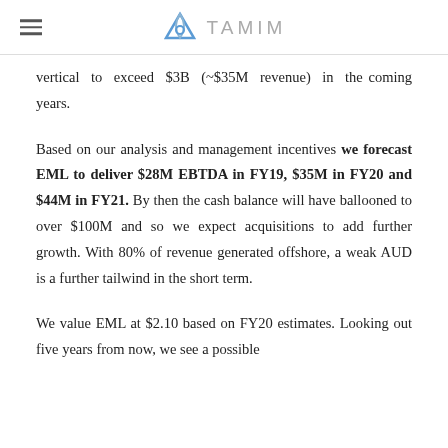TAMIM
vertical to exceed $3B (~$35M revenue) in the coming years.
Based on our analysis and management incentives we forecast EML to deliver $28M EBTDA in FY19, $35M in FY20 and $44M in FY21. By then the cash balance will have ballooned to over $100M and so we expect acquisitions to add further growth. With 80% of revenue generated offshore, a weak AUD is a further tailwind in the short term.
We value EML at $2.10 based on FY20 estimates. Looking out five years from now, we see a possible